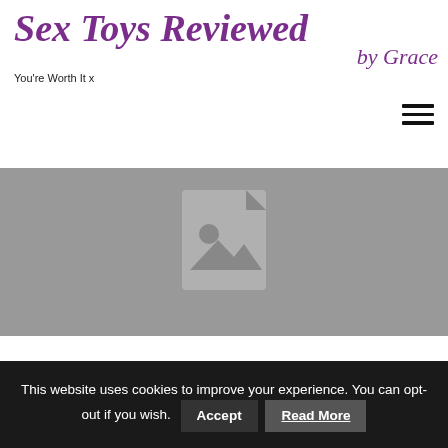Sex Toys Reviewed by Grace — You're Worth It x
[Figure (illustration): Hamburger menu icon with three horizontal lines, top right]
[Figure (photo): Placeholder image with grey background and document/image placeholder icon]
This website uses cookies to improve your experience. You can opt-out if you wish. Accept  Read More